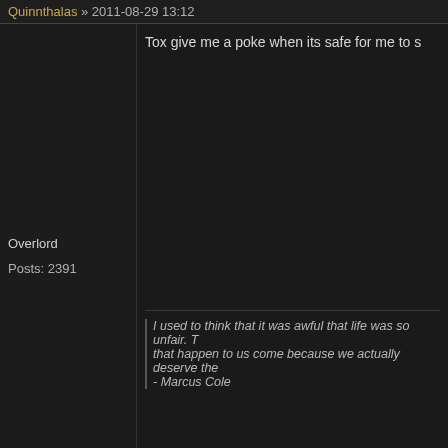Quinnthalas » 2011-08-29 13:12
Tox give me a poke when its safe for me to s
Overlord
Posts: 2391
I used to think that it was awful that life was so unfair. T that happen to us come because we actually deserve the - Marcus Cole
Fosix » 2011-11-01 12:34
Holy shitballs! Q, D and Tox! OOOOOOOOO
*looking into this SWOR*